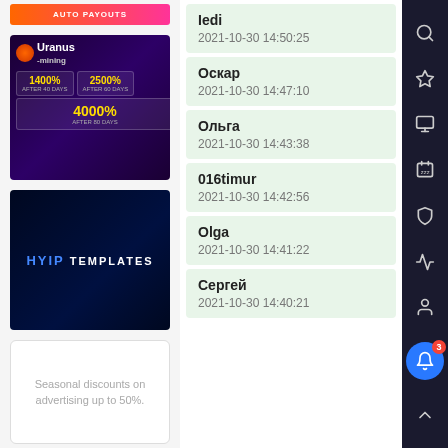[Figure (screenshot): Auto Payouts banner in orange-pink gradient]
[Figure (screenshot): Uranus Mining advertisement: 1400% after 40 days, 2500% after 60 days, 4000% after 80 days]
[Figure (screenshot): HYIP Templates advertisement banner]
[Figure (screenshot): Seasonal discounts on advertising up to 50%]
Iedi
2021-10-30 14:50:25
Оскар
2021-10-30 14:47:10
Ольга
2021-10-30 14:43:38
016timur
2021-10-30 14:42:56
Olga
2021-10-30 14:41:22
Сергей
2021-10-30 14:40:21